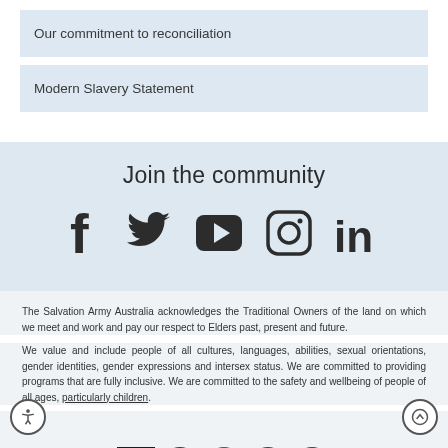Our commitment to reconciliation
Modern Slavery Statement
Join the community
[Figure (infographic): Social media icons: Facebook, Twitter, YouTube, Instagram, LinkedIn]
The Salvation Army Australia acknowledges the Traditional Owners of the land on which we meet and work and pay our respect to Elders past, present and future.
We value and include people of all cultures, languages, abilities, sexual orientations, gender identities, gender expressions and intersex status. We are committed to providing programs that are fully inclusive. We are committed to the safety and wellbeing of people of all ages, particularly children.
[Figure (illustration): Row of circular cultural/diversity icons at bottom of page]